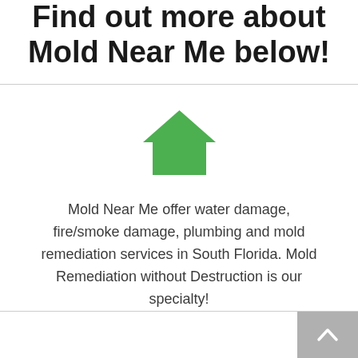Find out more about Mold Near Me below!
[Figure (illustration): Green house icon]
Mold Near Me offer water damage, fire/smoke damage, plumbing and mold remediation services in South Florida. Mold Remediation without Destruction is our specialty!